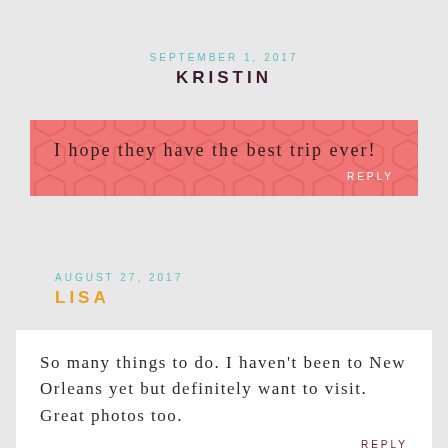SEPTEMBER 1, 2017
KRISTIN
I hope they have the best trip ever!
REPLY
AUGUST 27, 2017
LISA
So many things to do. I haven't been to New Orleans yet but definitely want to visit. Great photos too.
REPLY